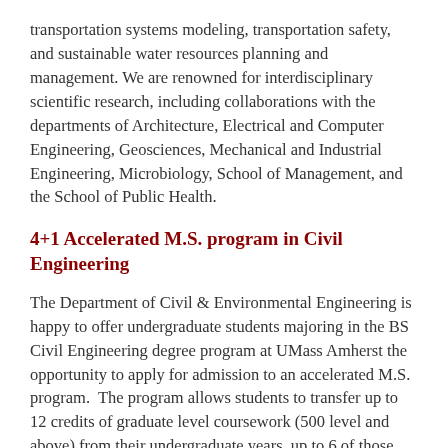transportation systems modeling, transportation safety, and sustainable water resources planning and management. We are renowned for interdisciplinary scientific research, including collaborations with the departments of Architecture, Electrical and Computer Engineering, Geosciences, Mechanical and Industrial Engineering, Microbiology, School of Management, and the School of Public Health.
4+1 Accelerated M.S. program in Civil Engineering
The Department of Civil & Environmental Engineering is happy to offer undergraduate students majoring in the BS Civil Engineering degree program at UMass Amherst the opportunity to apply for admission to an accelerated M.S. program.  The program allows students to transfer up to 12 credits of graduate level coursework (500 level and above) from their undergraduate years, up to 6 of those credits may be